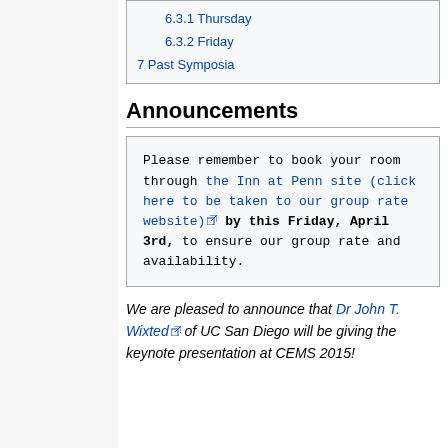6.3.1 Thursday
6.3.2 Friday
7 Past Symposia
Announcements
Please remember to book your room through the Inn at Penn site (click here to be taken to our group rate website) by this Friday, April 3rd, to ensure our group rate and availability.
We are pleased to announce that Dr John T. Wixted of UC San Diego will be giving the keynote presentation at CEMS 2015!